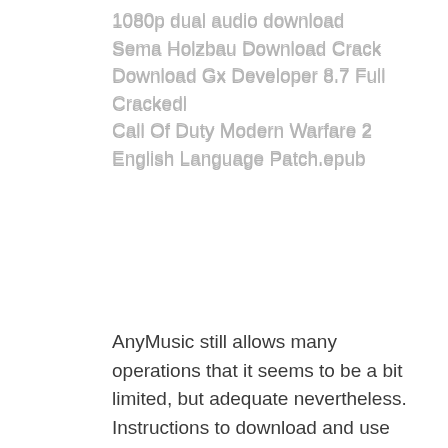1080p dual audio download
Sema Holzbau Download Crack
Download Gx Developer 8.7 Full Crackedl
Call Of Duty Modern Warfare 2 English Language Patch.epub
AnyMusic still allows many operations that it seems to be a bit limited, but adequate nevertheless.
Instructions to download and use AnyMusic 1.33 APK
Facebook information is on the tips of people's tongues right now and this had generated to a rush for updates on the social media blog. Millions of people have been using Facebook lately, so it's no longer shocking to find that the social networking site has been improved to accommodate the needs of the general public.
However...